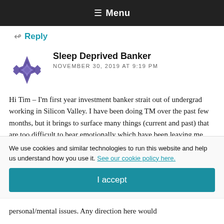≡ Menu
Reply
Sleep Deprived Banker
NOVEMBER 30, 2019 AT 9:19 PM
Hi Tim – I'm first year investment banker strait out of undergrad working in Silicon Valley. I have been doing TM over the past few months, but it brings to surface many things (current and past) that are too difficult to bear emotionally which have been leaving me more stressed. I think I need additional
We use cookies and similar technologies to run this website and help us understand how you use it. See our cookie policy here.
I accept
personal/mental issues. Any direction here would